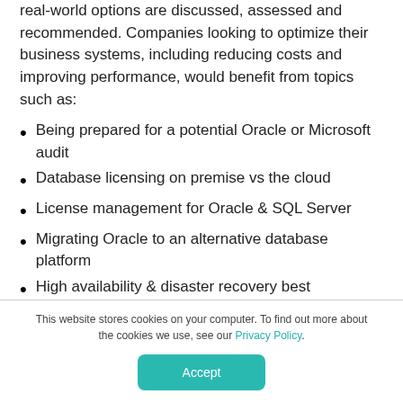real-world options are discussed, assessed and recommended. Companies looking to optimize their business systems, including reducing costs and improving performance, would benefit from topics such as:
Being prepared for a potential Oracle or Microsoft audit
Database licensing on premise vs the cloud
License management for Oracle & SQL Server
Migrating Oracle to an alternative database platform
High availability & disaster recovery best
This website stores cookies on your computer. To find out more about the cookies we use, see our Privacy Policy.
Accept